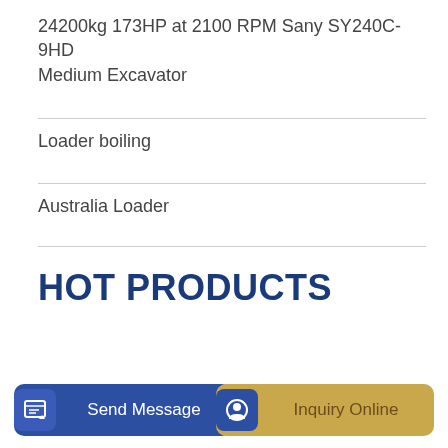24200kg 173HP at 2100 RPM Sany SY240C-9HD Medium Excavator
Loader boiling
Australia Loader
HOT PRODUCTS
Send Message
Inquiry Online